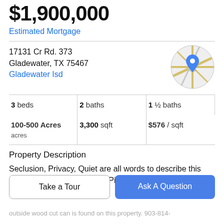$1,900,000
Estimated Mortgage
17131 Cr Rd. 373
Gladewater, TX 75467
Gladewater Isd
[Figure (map): Circular map thumbnail showing road map with a blue location pin marker in the center, on a gray/beige road map background.]
| 3 beds | 2 baths | 1 ½ baths |
| 100-500 Acres acres | 3,300 sqft | $576 / sqft |
Property Description
Seclusion, Privacy, Quiet are all words to describe this beautiful home sitting in the Piney Woods of East Texas.
Take a Tour
Ask A Question